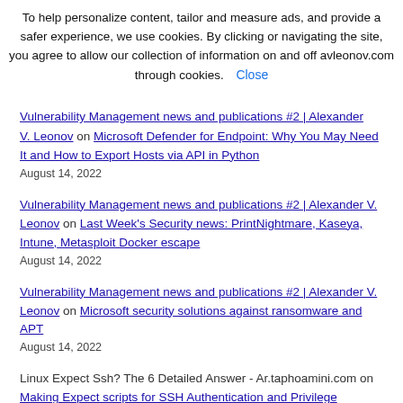To help personalize content, tailor and measure ads, and provide a safer experience, we use cookies. By clicking or navigating the site, you agree to allow our collection of information on and off avleonov.com through cookies. Close
Vulnerability Management news and publications #2 | Alexander V. Leonov on Microsoft Defender for Endpoint: Why You May Need It and How to Export Hosts via API in Python
August 14, 2022
Vulnerability Management news and publications #2 | Alexander V. Leonov on Last Week's Security news: PrintNightmare, Kaseya, Intune, Metasploit Docker escape
August 14, 2022
Vulnerability Management news and publications #2 | Alexander V. Leonov on Microsoft security solutions against ransomware and APT
August 14, 2022
Linux Expect Ssh? The 6 Detailed Answer - Ar.taphoamini.com on Making Expect scripts for SSH Authentication and Privilege